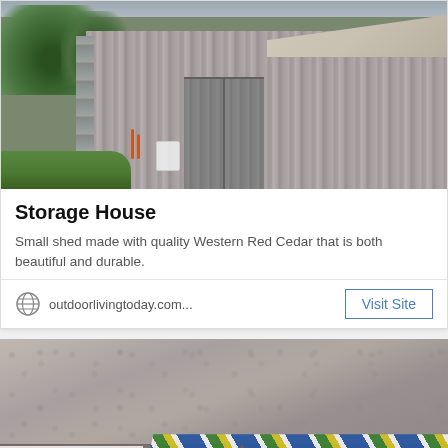[Figure (photo): Photo of an old weathered wooden barn/storage shed with grey vertical planks, metal roof, large double doors, surrounded by green trees and vegetation. A white chair is visible near the entrance.]
Storage House
Small shed made with quality Western Red Cedar that is both beautiful and durable.
outdoorlivingtoday.com...
[Figure (photo): Close-up photo of a textured grey/brown surface (possibly wood or fabric) with a colorful chevron/zigzag patterned fabric in blue, green, white, and yellow visible in the lower right portion of the image.]